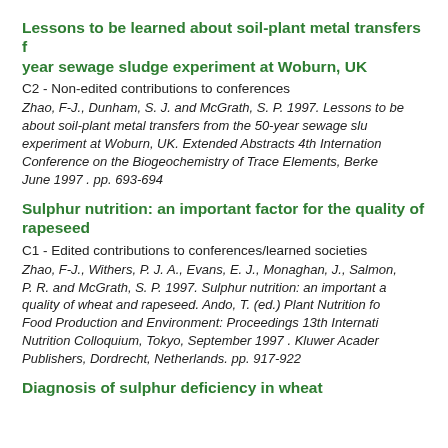Lessons to be learned about soil-plant metal transfers from the 50-year sewage sludge experiment at Woburn, UK
C2 - Non-edited contributions to conferences
Zhao, F-J., Dunham, S. J. and McGrath, S. P. 1997. Lessons to be learned about soil-plant metal transfers from the 50-year sewage sludge experiment at Woburn, UK. Extended Abstracts 4th International Conference on the Biogeochemistry of Trace Elements, Berkeley, June 1997 . pp. 693-694
Sulphur nutrition: an important factor for the quality of wheat and rapeseed
C1 - Edited contributions to conferences/learned societies
Zhao, F-J., Withers, P. J. A., Evans, E. J., Monaghan, J., Salmon, S. E., Shewry, P. R. and McGrath, S. P. 1997. Sulphur nutrition: an important factor for the quality of wheat and rapeseed. Ando, T. (ed.) Plant Nutrition for Sustainable Food Production and Environment: Proceedings 13th International Plant Nutrition Colloquium, Tokyo, September 1997 . Kluwer Academic Publishers, Dordrecht, Netherlands. pp. 917-922
Diagnosis of sulphur deficiency in wheat